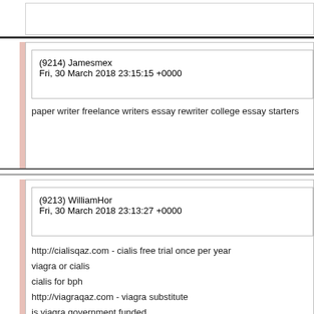(9214) Jamesmex
Fri, 30 March 2018 23:15:15 +0000
paper writer freelance writers essay rewriter college essay starters
(9213) WilliamHor
Fri, 30 March 2018 23:13:27 +0000
http://cialisqaz.com - cialis free trial once per year
viagra or cialis
cialis for bph
http://viagraqaz.com - viagra substitute
is viagra government funded
cost of viagra
http://cialisqaz.com - online cialis
cialis price
what is cialis
http://viagraqaz.com - side effects of viagra